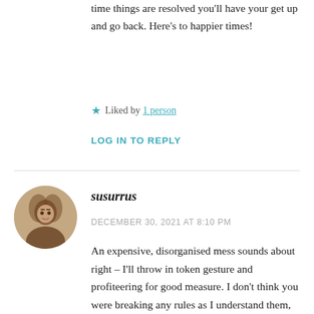time things are resolved you'll have your get up and go back. Here's to happier times!
★ Liked by 1 person
LOG IN TO REPLY
susurrus
DECEMBER 30, 2021 AT 8:10 PM
An expensive, disorganised mess sounds about right – I'll throw in token gesture and profiteering for good measure. I don't think you were breaking any rules as I understand them,